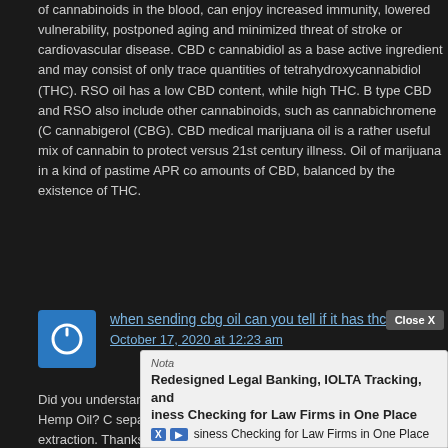of cannabinoids in the blood, can enjoy increased immunity, lowered vulnerability, postponed aging and minimized threat of stroke or cardiovascular disease. CBD consists of cannabidiol as a base active ingredient and may consist of only trace quantities of tetrahydroxycannabidiol (THC). RSO oil has a low CBD content, while high THC. Both type CBD and RSO also include other cannabinoids, such as cannabichromene (CBC) and cannabigerol (CBG). CBD medical marijuana oil is a rather useful mix of cannabinoids to protect versus 21st century illness. Oil of marijuana in a kind of pastime APR contains amounts of CBD, balanced by the existence of THC.
when sending cbg oil can you tell if it has thc
October 17, 2020 at 12:23 am
Did you understand these truths on CBD OIL and Full Spectrum CBD Hemp Oil? CBD is separated from hemp utilizing supercritical CO2 extraction. Thanks to modern-day the resulting option is clean, without heavy metals and unnecessary waxes, naturally present in the plant, and the sucked liquid has a normal, oily consistency. CBD oil consists of cannabidiol as a base active ingredient and might contain only trace amounts of tetrahydrocannabinol. It is recommended by doctors and pharmacists as an antioxidant and compound that blocks the action of proinflammatory cytokines (proteins), e.g. in Crohn's disease or ulcerative intestines. RSO oil has a low CBD content, while high THC. The synergistic (enhancing) action of CBD and THC relative to each other is used here. Both cannabinoids can do much more together than independently. Both cannabis oil type CBD and RSO likewise contain other cannabinoids, e.g. cannabichromene (CBC) and cannabigerol (CBG). The trick is not, however, that CBD often has actually a structure expanded to consist of flavones, flavonoids, terpenes, terpenoids, acids and omega acids. The distinction is primarily intended to protect humankind from using the other end of cannabis in its psychedelic form.
Close X
Nota Redesigned Legal Banking, IOLTA Tracking, and Business Checking for Law Firms in One Place